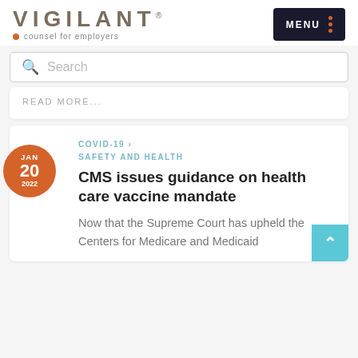VIGILANT · counsel for employers
Search
READ MORE...
COVID-19 › SAFETY AND HEALTH
CMS issues guidance on health care vaccine mandate
Now that the Supreme Court has upheld the Centers for Medicare and Medicaid